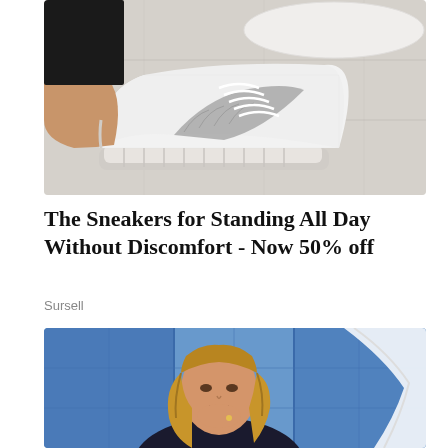[Figure (photo): Close-up photo of a person putting on a white and grey knit sneaker on a light wood floor]
The Sneakers for Standing All Day Without Discomfort - Now 50% off
Sursell
[Figure (photo): Photo of a blonde woman with chin resting on her hand, smiling, with a blue and white background]